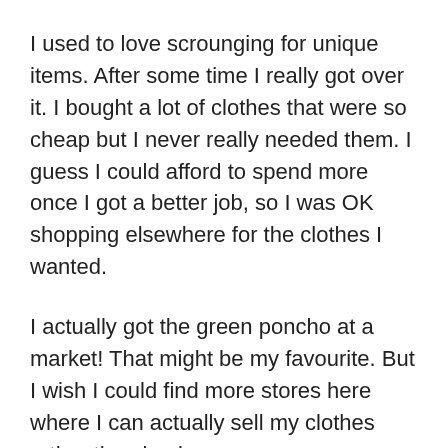I used to love scrounging for unique items. After some time I really got over it. I bought a lot of clothes that were so cheap but I never really needed them. I guess I could afford to spend more once I got a better job, so I was OK shopping elsewhere for the clothes I wanted.
I actually got the green poncho at a market! That might be my favourite. But I wish I could find more stores here where I can actually sell my clothes rather than buying.
Got a question for me? Post it in the comments!